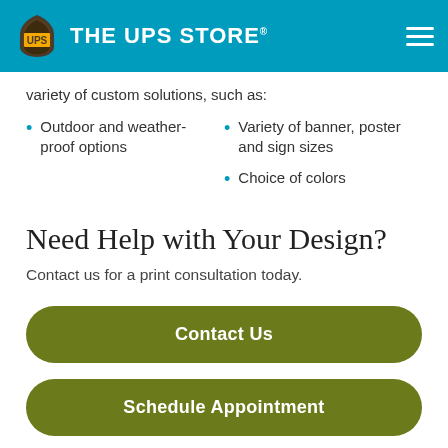THE UPS STORE
variety of custom solutions, such as:
Outdoor and weather-proof options
Variety of banner, poster and sign sizes
Choice of colors
Need Help with Your Design?
Contact us for a print consultation today.
Contact Us
Schedule Appointment